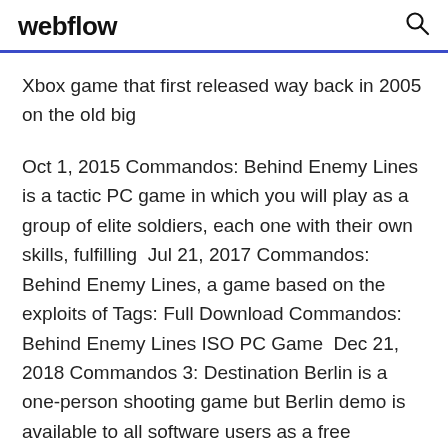webflow
Xbox game that first released way back in 2005 on the old big
Oct 1, 2015 Commandos: Behind Enemy Lines is a tactic PC game in which you will play as a group of elite soldiers, each one with their own skills, fulfilling  Jul 21, 2017 Commandos: Behind Enemy Lines, a game based on the exploits of Tags: Full Download Commandos: Behind Enemy Lines ISO PC Game  Dec 21, 2018 Commandos 3: Destination Berlin is a one-person shooting game but Berlin demo is available to all software users as a free download with  Oct 29, 2018 Commandos: